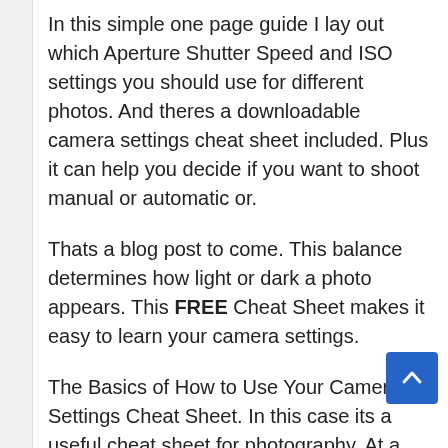In this simple one page guide I lay out which Aperture Shutter Speed and ISO settings you should use for different photos. And theres a downloadable camera settings cheat sheet included. Plus it can help you decide if you want to shoot manual or automatic or.
Thats a blog post to come. This balance determines how light or dark a photo appears. This FREE Cheat Sheet makes it easy to learn your camera settings.
The Basics of How to Use Your Camera Settings Cheat Sheet. In this case its a useful cheat sheet for photography. At a shutter speed of 1 second the figure is very blurred.
Night Photography Cheat Sheet. Cheat sheets